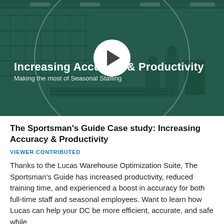[Figure (photo): Video thumbnail showing a warehouse/distribution center interior with a teal/green color overlay. Large white text reads 'Increasing Accuracy & Productivity' and smaller text reads 'Making the most of Seasonal Staffing'. A white circular play button is centered on the image. A large faint circle outline is visible in the background.]
The Sportsman's Guide Case study: Increasing Accuracy & Productivity
VIEWER CONTRIBUTED
Thanks to the Lucas Warehouse Optimization Suite, The Sportsman's Guide has increased productivity, reduced training time, and experienced a boost in accuracy for both full-time staff and seasonal employees. Want to learn how Lucas can help your DC be more efficient, accurate, and safe while